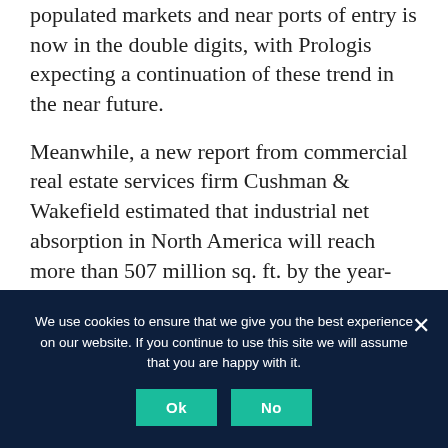populated markets and near ports of entry is now in the double digits, with Prologis expecting a continuation of these trend in the near future.
Meanwhile, a new report from commercial real estate services firm Cushman & Wakefield estimated that industrial net absorption in North America will reach more than 507 million sq. ft. by the year-end, with vacancy dropping by 110 basis points year-over-year to 3.8 percent. Cushman & Wakefield also expects record asking rent
We use cookies to ensure that we give you the best experience on our website. If you continue to use this site we will assume that you are happy with it.